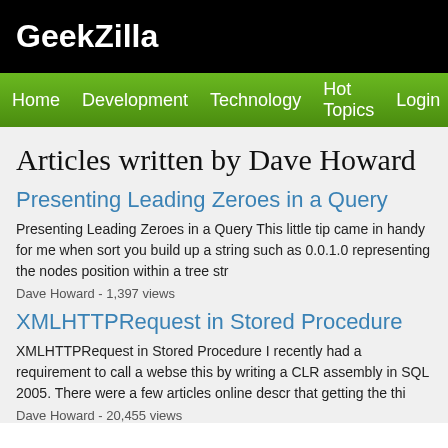GeekZilla
Home  Development  Technology  Hot Topics  Login
Articles written by Dave Howard
Presenting Leading Zeroes in a Query
Presenting Leading Zeroes in a Query This little tip came in handy for me when sort you build up a string such as 0.0.1.0 representing the nodes position within a tree str
Dave Howard - 1,397 views
XMLHTTPRequest in Stored Procedure
XMLHTTPRequest in Stored Procedure I recently had a requirement to call a webse this by writing a CLR assembly in SQL 2005. There were a few articles online descr that getting the thi
Dave Howard - 20,455 views